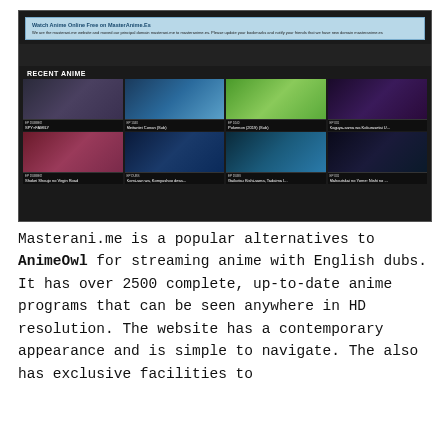[Figure (screenshot): Screenshot of Masterani.me website showing a notice bar about domain change and a grid of recent anime thumbnails including SPY×FAMILY, Meitantei Conan (Sub), Pokemon (2019) (Sub), Kaguya-sama wa Kokurasetai U..., Shokei Shoujo no Virgin Road, Komi-san wa, Komyushoo desa..., Gaikotsu Kishi-sama, Tadaima I..., Mahoutskai no Yome: Nishi no...]
Masterani.me is a popular alternatives to AnimeOwl for streaming anime with English dubs. It has over 2500 complete, up-to-date anime programs that can be seen anywhere in HD resolution. The website has a contemporary appearance and is simple to navigate. The also has exclusive facilities to